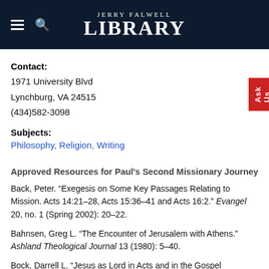Jerry Falwell Library
Contact:
1971 University Blvd
Lynchburg, VA 24515
(434)582-3098
Subjects:
Philosophy, Religion, Writing
Approved Resources for Paul's Second Missionary Journey
Back, Peter. “Exegesis on Some Key Passages Relating to Mission. Acts 14:21–28, Acts 15:36–41 and Acts 16:2.” Evangel 20, no. 1 (Spring 2002): 20–22.
Bahnsen, Greg L. “The Encounter of Jerusalem with Athens.” Ashland Theological Journal 13 (1980): 5–40.
Bock, Darrell L. “Jesus as Lord in Acts and in the Gospel Message.”